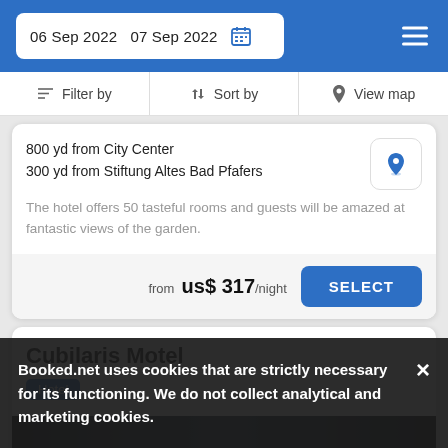06 Sep 2022  07 Sep 2022
Filter by   Sort by   View map
800 yd from City Center
300 yd from Stiftung Altes Bad Pfafers
The hotel offers 50 tasteful rooms and guests will be amazed at fantastic views of the garden.
from  us$ 317/night
Cubilaris Motel
Hotel
Booked.net uses cookies that are strictly necessary for its functioning. We do not collect analytical and marketing cookies.